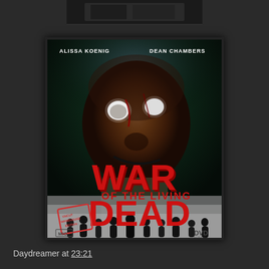[Figure (photo): Partial top image, cropped, dark scene, barely visible at top of page]
[Figure (photo): DVD movie poster for 'War of the Living Dead' featuring a zombie face, actors Alissa Koenig and Dean Chambers listed at top, large red title text, silhouetted zombie figures at bottom, MIG and DVD logos]
Daydreamer at 23:21